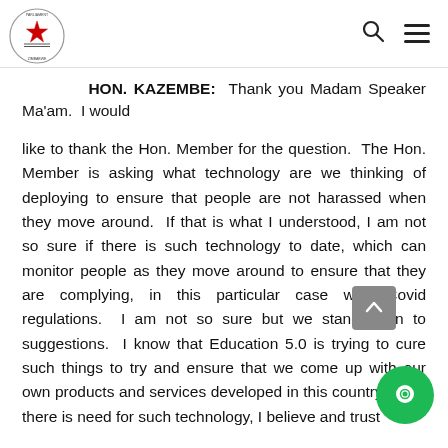Parliament of Zimbabwe
HON. KAZEMBE: Thank you Madam Speaker Ma'am. I would
like to thank the Hon. Member for the question. The Hon. Member is asking what technology are we thinking of deploying to ensure that people are not harassed when they move around. If that is what I understood, I am not so sure if there is such technology to date, which can monitor people as they move around to ensure that they are complying, in this particular case with Covid regulations. I am not so sure but we stand open to suggestions. I know that Education 5.0 is trying to cure such things to try and ensure that we come up with our own products and services developed in this country. So, if there is need for such technology, I believe and trust